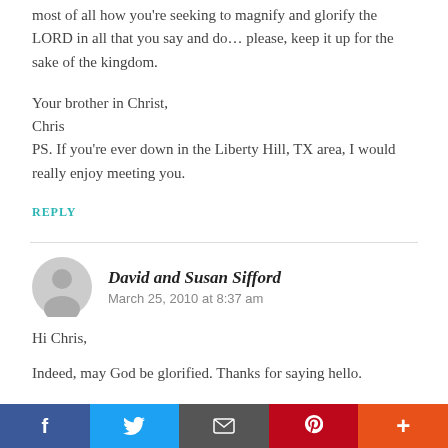most of all how you're seeking to magnify and glorify the LORD in all that you say and do… please, keep it up for the sake of the kingdom.
Your brother in Christ,
Chris
PS. If you're ever down in the Liberty Hill, TX area, I would really enjoy meeting you.
REPLY
David and Susan Sifford
March 25, 2010 at 8:37 am
Hi Chris,
Indeed, may God be glorified. Thanks for saying hello.